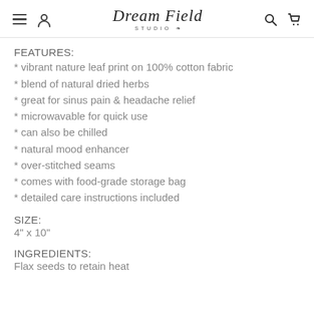Dream Field Studio
FEATURES:
* vibrant nature leaf print on 100% cotton fabric
* blend of natural dried herbs
* great for sinus pain & headache relief
* microwavable for quick use
* can also be chilled
* natural mood enhancer
* over-stitched seams
* comes with food-grade storage bag
* detailed care instructions included
SIZE:
4" x 10"
INGREDIENTS:
Flax seeds to retain heat